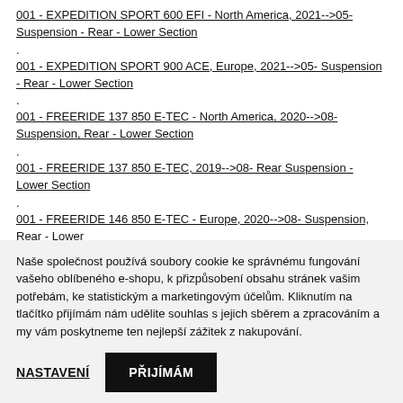001 - EXPEDITION SPORT 600 EFI - North America, 2021-->05- Suspension - Rear - Lower Section
001 - EXPEDITION SPORT 900 ACE, Europe, 2021-->05- Suspension - Rear - Lower Section
001 - FREERIDE 137 850 E-TEC - North America, 2020-->08- Suspension, Rear - Lower Section
001 - FREERIDE 137 850 E-TEC, 2019-->08- Rear Suspension - Lower Section
001 - FREERIDE 146 850 E-TEC - Europe, 2020-->08- Suspension, Rear - Lower
Naše společnost používá soubory cookie ke správnému fungování vašeho oblíbeného e-shopu, k přizpůsobení obsahu stránek vašim potřebám, ke statistickým a marketingovým účelům. Kliknutím na tlačítko přijímám nám udělite souhlas s jejich sběrem a zpracováním a my vám poskytneme ten nejlepší zážitek z nakupování.
NASTAVENÍ   PŘIJÍMÁM